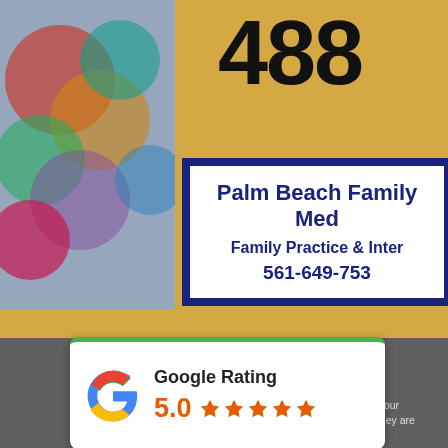[Figure (photo): Photograph of a yellow building exterior showing a sign for 'Palm Beach Family Med' with 'Family Practice & Inter' and phone number '561-649-753', with colorful art visible on the left side and address number '488' mounted above the sign]
[Figure (infographic): Google Rating card showing 5.0 stars with five orange star icons, overlaid on a dark grey background strip with text 'to customize.' and 'Digital signs are among the most versatile in our business. They often incorporate digital signs. They are programmable and t']